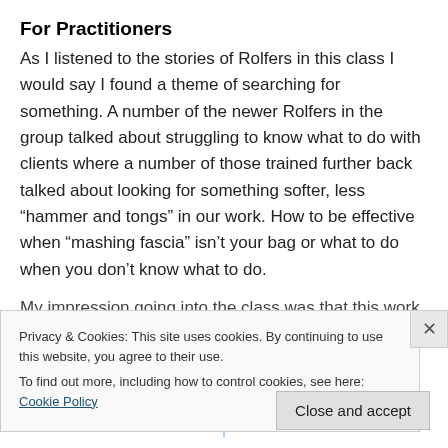For Practitioners
As I listened to the stories of Rolfers in this class I would say I found a theme of searching for something. A number of the newer Rolfers in the group talked about struggling to know what to do with clients where a number of those trained further back talked about looking for something softer, less “hammer and tongs” in our work. How to be effective when “mashing fascia” isn’t your bag or what to do when you don’t know what to do.
My impression going into the class was that this work
Privacy & Cookies: This site uses cookies. By continuing to use this website, you agree to their use.
To find out more, including how to control cookies, see here: Cookie Policy
Close and accept